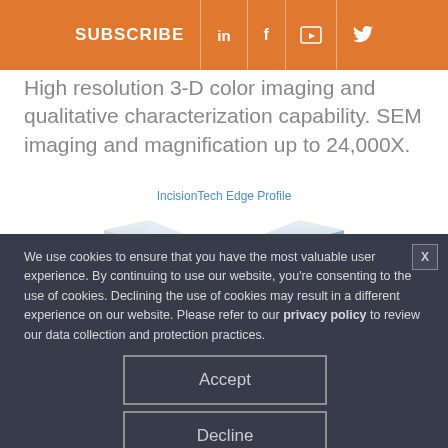SUBSCRIBE  in  f  [yt]  [tw]
High resolution 3-D color imaging and qualitative characterization capability.  SEM imaging and magnification up to 24,000X.
IncisionTech Edge Profile
[Figure (photo): 3D rendering of a blade or film edge profile showing a sharp folded edge with metallic sheen]
We use cookies to ensure that you have the most valuable user experience. By continuing to use our website, you're consenting to the use of cookies. Declining the use of cookies may result in a different experience on our website. Please refer to our privacy policy to review our data collection and protection practices.
Accept
Decline